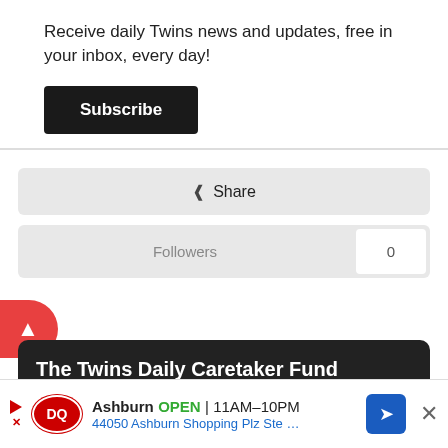Receive daily Twins news and updates, free in your inbox, every day!
Subscribe
Share
Followers
0
Go to topic listing
The Twins Daily Caretaker Fund
You all care about this site. The next step is caring for it.
We're ... the premi...
Ashburn OPEN 11AM–10PM 44050 Ashburn Shopping Plz Ste ...